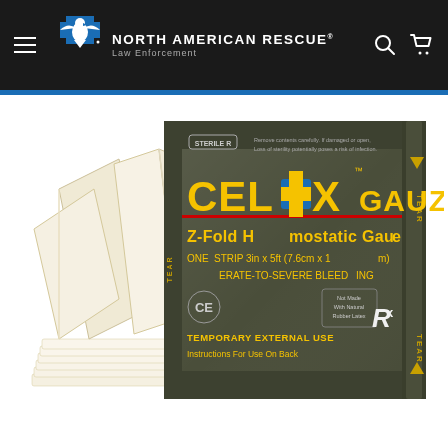NORTH AMERICAN RESCUE® Law Enforcement
[Figure (photo): Celox Gauze Z-Fold Hemostatic Gauze product photo showing the dark olive/grey packaging with yellow 'CELOX GAUZE' branding and folded white gauze pads displayed in front of the package. Package text: CELOX GAUZE, Z-Fold Hemostatic Gauze, ONE STRIP 3in x 5ft (7.6cm x 1m), FOR MODERATE-TO-SEVERE BLEEDING, TEMPORARY EXTERNAL USE, Rx]